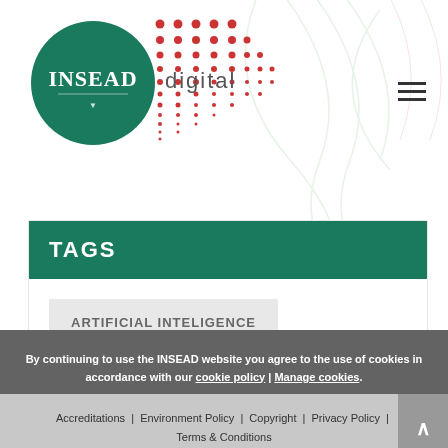[Figure (logo): INSEAD digital logo with green circle and red dot pattern]
TAGS
ARTIFICIAL INTELIGENCE
FEATURED
Accreditations | Environment Policy | Copyright | Privacy Policy | Terms & Conditions
By continuing to use the INSEAD website you agree to the use of cookies in accordance with our cookie policy | Manage cookies.